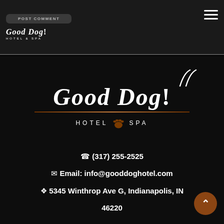[Figure (screenshot): Navigation bar of Good Dog! Hotel & Spa website showing POST COMMENT button, small logo top-left, and hamburger menu top-right]
[Figure (logo): Large centered Good Dog! Hotel & Spa logo with swoosh marks, brown paw print icon between HOTEL and SPA text]
(317) 255-2525
Email: info@gooddoghotel.com
5345 Winthrop Ave G, Indianapolis, IN 46220